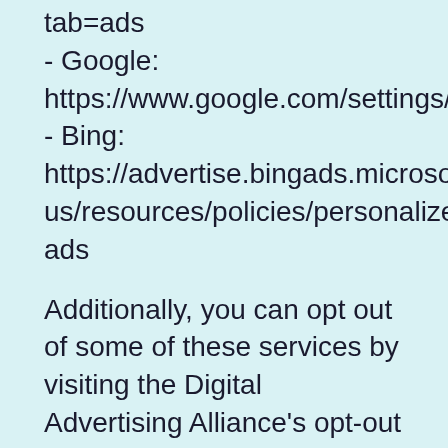tab=ads
- Google: https://www.google.com/settings/ads/an
- Bing: https://advertise.bingads.microsoft.com/e us/resources/policies/personalized-ads
Additionally, you can opt out of some of these services by visiting the Digital Advertising Alliance’s opt-out portal at: http://optout.aboutads.info/.
Do not track
Please note that we do not alter our Site’s data collection and use practices when we see a Do Not Track signal from